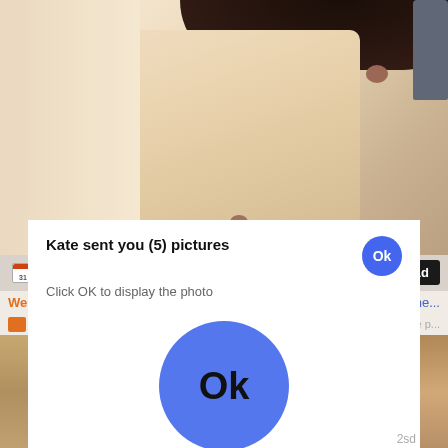[Figure (screenshot): Screenshot of a webpage showing adult content partially visible at top, with a webpage info bar showing '6 years ago' and '20:21', a '[x] Close Ad' button, partial orange text 'We ha...' and blue link text, an 'Ads By ClickAdilla' bar with X close button, and a modal popup dialog saying 'Kate sent you (5) pictures / Click OK to display the photo' with a blue circular Ok button, and a large blue circular Ok button in the center of the popup. Bottom shows '2sd' text.]